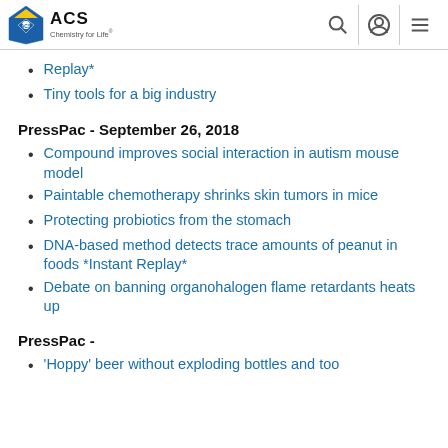ACS Chemistry for Life
Replay*
Tiny tools for a big industry
PressPac - September 26, 2018
Compound improves social interaction in autism mouse model
Paintable chemotherapy shrinks skin tumors in mice
Protecting probiotics from the stomach
DNA-based method detects trace amounts of peanut in foods *Instant Replay*
Debate on banning organohalogen flame retardants heats up
PressPac -
'Hoppy' beer without exploding bottles and too